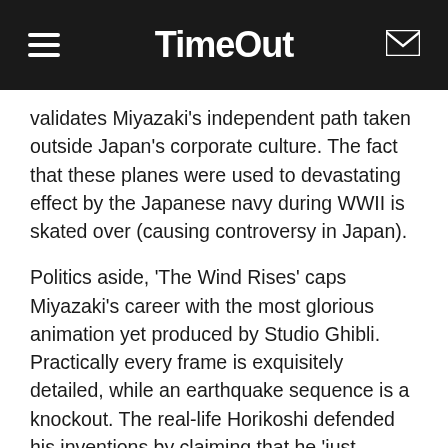TimeOut
validates Miyazaki's independent path taken outside Japan's corporate culture. The fact that these planes were used to devastating effect by the Japanese navy during WWII is skated over (causing controversy in Japan).
Politics aside, 'The Wind Rises' caps Miyazaki's career with the most glorious animation yet produced by Studio Ghibli. Practically every frame is exquisitely detailed, while an earthquake sequence is a knockout. The real-life Horikoshi defended his inventions by claiming that he 'just wanted to make something beautiful'. Now, with this ravishing film, the veteran animator has succeeded in doing the same.
Which is just as well, because otherwise the film offers little comfort to many Miyazaki fans. In place of cuddly critters and zany fantasy set pieces, we're given disasters, bombs